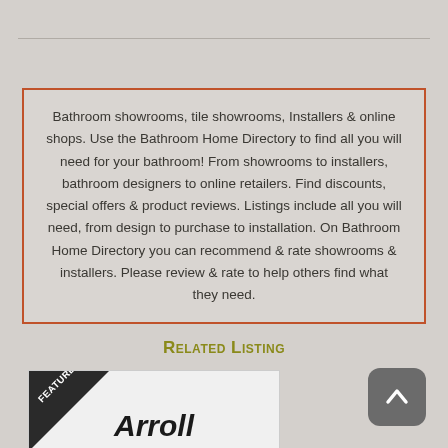Bathroom showrooms, tile showrooms, Installers & online shops. Use the Bathroom Home Directory to find all you will need for your bathroom! From showrooms to installers, bathroom designers to online retailers. Find discounts, special offers & product reviews. Listings include all you will need, from design to purchase to installation. On Bathroom Home Directory you can recommend & rate showrooms & installers. Please review & rate to help others find what they need.
Related Listing
[Figure (logo): Featured listing image with diagonal 'FEATURED' banner in dark background and 'Arroll' text logo]